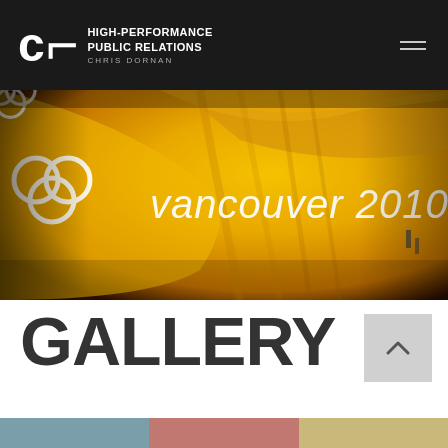HIGH-PERFORMANCE PUBLIC RELATIONS — CHRIS DORNAN
[Figure (photo): Large golden-yellow banner photo showing the Vancouver 2010 Olympics logo with Olympic rings and stadium structure lit up at night]
GALLERY
[Figure (photo): Gallery thumbnail strip showing partial images at the bottom of page]